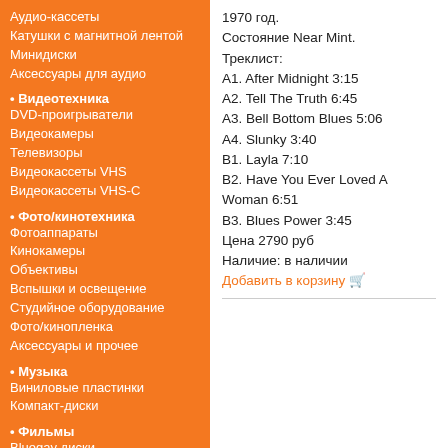Аудио-кассеты
Катушки с магнитной лентой
Минидиски
Аксессуары для аудио
• Видеотехника
DVD-проигрыватели
Видеокамеры
Телевизоры
Видеокассеты VHS
Видеокассеты VHS-C
• Фото/кинотехника
Фотоаппараты
Кинокамеры
Объективы
Вспышки и освещение
Студийное оборудование
Фото/кинопленка
Аксессуары и прочее
• Музыка
Виниловые пластинки
Компакт-диски
• Фильмы
Bluegay диски
DVD
1970 год. Состояние Near Mint. Треклист: A1. After Midnight 3:15 A2. Tell The Truth 6:45 A3. Bell Bottom Blues 5:06 A4. Slunky 3:40 B1. Layla 7:10 B2. Have You Ever Loved A Woman 6:51 B3. Blues Power 3:45 Цена 2790 руб Наличие: в наличии
Добавить в корзину 🛒